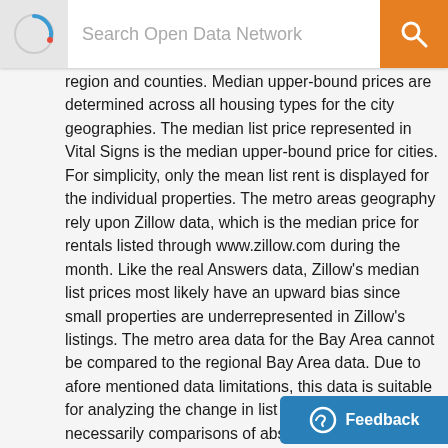Search Open Data Network
region and counties. Median upper-bound prices are determined across all housing types for the city geographies. The median list price represented in Vital Signs is the median upper-bound price for cities. For simplicity, only the mean list rent is displayed for the individual properties. The metro areas geography rely upon Zillow data, which is the median price for rentals listed through www.zillow.com during the month. Like the real Answers data, Zillow's median list prices most likely have an upward bias since small properties are underrepresented in Zillow's listings. The metro area data for the Bay Area cannot be compared to the regional Bay Area data. Due to afore mentioned data limitations, this data is suitable for analyzing the change in list rents over time but not necessarily comparisons of absolute list rents. Metro area boundaries reflects today's metro area definitions by county for consistency, rather than historic boundaries. Due to the limited num